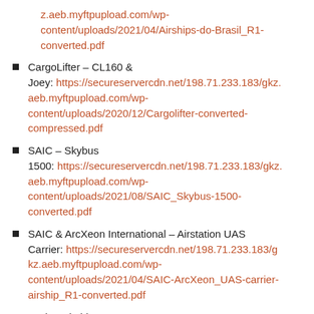z.aeb.myftpupload.com/wp-content/uploads/2021/04/Airships-do-Brasil_R1-converted.pdf
CargoLifter – CL160 & Joey: https://secureservercdn.net/198.71.233.183/gkz.aeb.myftpupload.com/wp-content/uploads/2020/12/Cargolifter-converted-compressed.pdf
SAIC – Skybus 1500: https://secureservercdn.net/198.71.233.183/gkz.aeb.myftpupload.com/wp-content/uploads/2021/08/SAIC_Skybus-1500-converted.pdf
SAIC & ArcXeon International – Airstation UAS Carrier: https://secureservercdn.net/198.71.233.183/gkz.aeb.myftpupload.com/wp-content/uploads/2021/04/SAIC-ArcXeon_UAS-carrier-airship_R1-converted.pdf
Tucker Airships – TX-